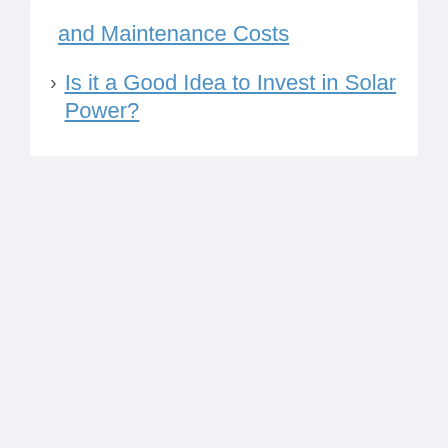and Maintenance Costs
Is it a Good Idea to Invest in Solar Power?